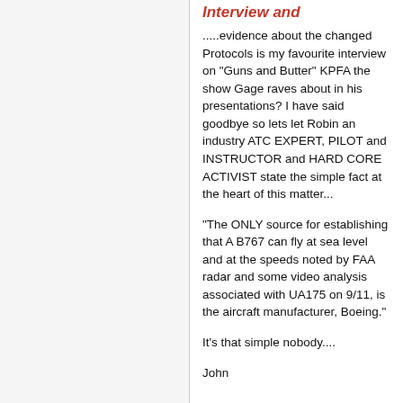Interview and
.....evidence about the changed Protocols is my favourite interview on "Guns and Butter" KPFA the show Gage raves about in his presentations? I have said goodbye so lets let Robin an industry ATC EXPERT, PILOT and INSTRUCTOR and HARD CORE ACTIVIST state the simple fact at the heart of this matter...
"The ONLY source for establishing that A B767 can fly at sea level and at the speeds noted by FAA radar and some video analysis associated with UA175 on 9/11, is the aircraft manufacturer, Boeing."
It's that simple nobody....
John